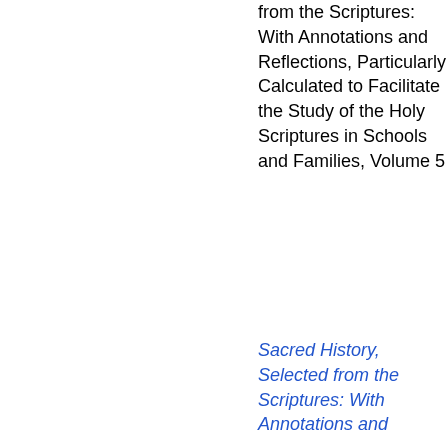from the Scriptures: With Annotations and Reflections, Particularly Calculated to Facilitate the Study of the Holy Scriptures in Schools and Families, Volume 5
Sacred History, Selected from the Scriptures: With Annotations and